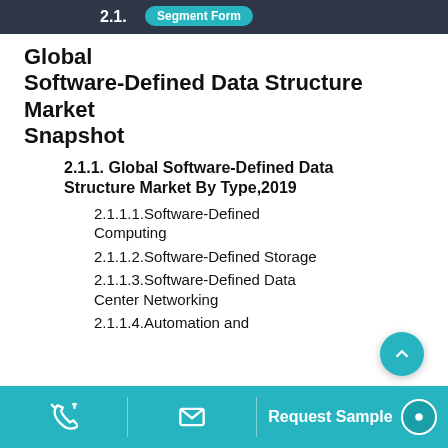2.1. Segment Form
Global Software-Defined Data Structure Market Snapshot
2.1.1. Global Software-Defined Data Structure Market By Type,2019
2.1.1.1.Software-Defined Computing
2.1.1.2.Software-Defined Storage
2.1.1.3.Software-Defined Data Center Networking
2.1.1.4.Automation and
Request Sample